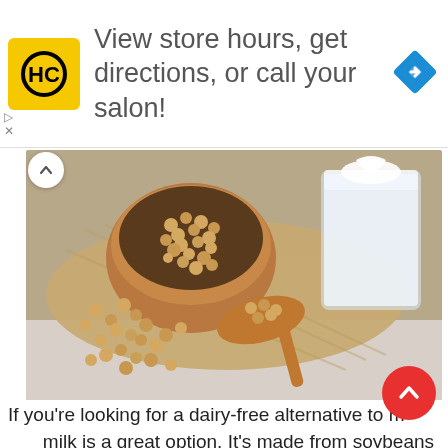[Figure (logo): HC salon logo with yellow background and black HC letters in circular style]
View store hours, get directions, or call your salon!
[Figure (photo): Soybeans in a wooden bowl and spoon with a glass of soy milk on burlap fabric]
If you're looking for a dairy-free alternative to milk, soy milk is a great option. It's made from soybeans and is often fortified with vitamins and minerals. Soy milk contains 6 grams of protein per cup (244 mL) and is an excellent source of calcium, vitamin D, and vitamin B12.